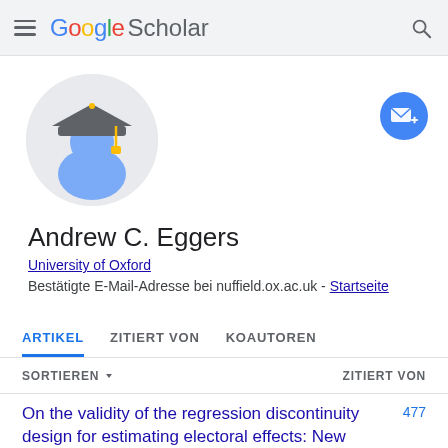Google Scholar
[Figure (illustration): Google Scholar default profile avatar: circular grey background with a blue generic person silhouette wearing a dark graduation cap with a gold tassel]
[Figure (illustration): Blue circular follow/email button with an envelope icon and a plus sign]
Andrew C. Eggers
University of Oxford
Bestätigte E-Mail-Adresse bei nuffield.ox.ac.uk - Startseite
ARTIKEL   ZITIERT VON   KOAUTOREN
SORTIEREN ▾   ZITIERT VON
On the validity of the regression discontinuity design for estimating electoral effects: New evidence from over 40,000 close races
477